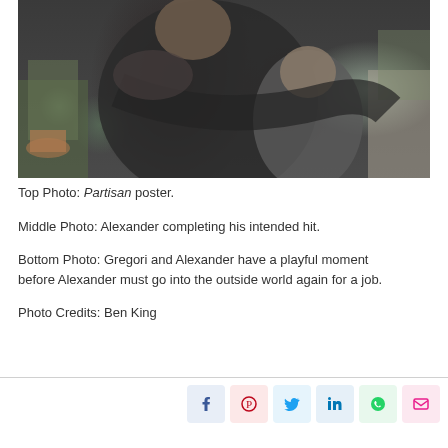[Figure (photo): A man in a dark knit sweater embracing a young boy outdoors, with plants and stone wall visible in background. The man is looking down with a slight smile and the boy is leaning into him.]
Top Photo: Partisan poster.
Middle Photo: Alexander completing his intended hit.
Bottom Photo: Gregori and Alexander have a playful moment before Alexander must go into the outside world again for a job.
Photo Credits: Ben King